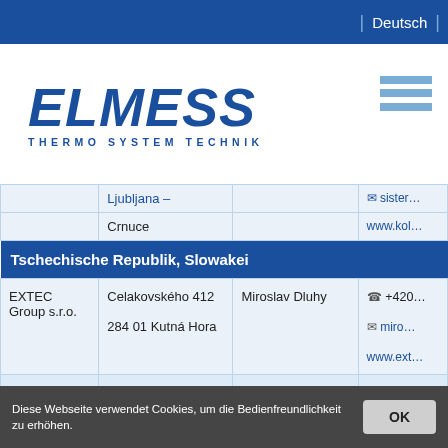| Deutsch |
[Figure (logo): ELMESS THERMO SYSTEM TECHNIK logo in blue italic lettering with hamburger menu icon]
| Company | Address | Contact | Phone/Email/Web |
| --- | --- | --- | --- |
|  | Ljubljana –
Crnuce |  | ✉ sister…
www.kol… |
| Tschechische Republik, Slowakei |  |  |  |
| EXTEC Group s.r.o. | Celakovského 412
284 01 Kutná Hora | Miroslav Dluhy | ☎ +420…
✉ miro…
www.ext… |
| Manag a.s. | Průmyslová zóna
Šťáralka 909
280 02 Kolín IV | Tomás Beránek | ☎ +420…
🖷 +420…
✉ tomas.b… |
Diese Webseite verwendet Cookies, um die Bedienfreundlichkeit zu erhöhen.
OK